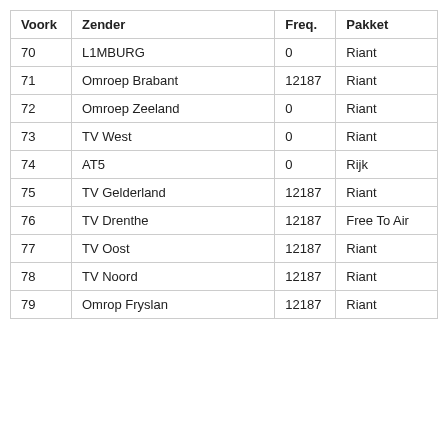| Voork | Zender | Freq. | Pakket |
| --- | --- | --- | --- |
| 70 | L1MBURG | 0 | Riant |
| 71 | Omroep Brabant | 12187 | Riant |
| 72 | Omroep Zeeland | 0 | Riant |
| 73 | TV West | 0 | Riant |
| 74 | AT5 | 0 | Rijk |
| 75 | TV Gelderland | 12187 | Riant |
| 76 | TV Drenthe | 12187 | Free To Air |
| 77 | TV Oost | 12187 | Riant |
| 78 | TV Noord | 12187 | Riant |
| 79 | Omrop Fryslan | 12187 | Riant |